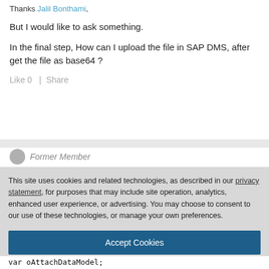Thanks Jalil Bonthami,
But I would like to ask something.
In the final step, How can I upload the file in SAP DMS, after get the file as base64 ?
Like 0  |  Share
This site uses cookies and related technologies, as described in our privacy statement, for purposes that may include site operation, analytics, enhanced user experience, or advertising. You may choose to consent to our use of these technologies, or manage your own preferences.
Accept Cookies
More Information
Privacy Policy | Powered by: TrustArc
var oAttachDataModel;